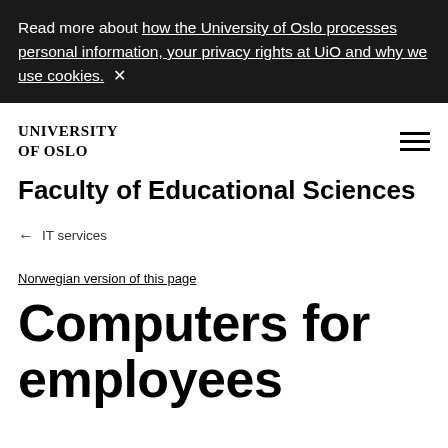Read more about how the University of Oslo processes personal information, your privacy rights at UiO and why we use cookies. ×
UNIVERSITY OF OSLO
Faculty of Educational Sciences
← IT services
Norwegian version of this page
Computers for employees